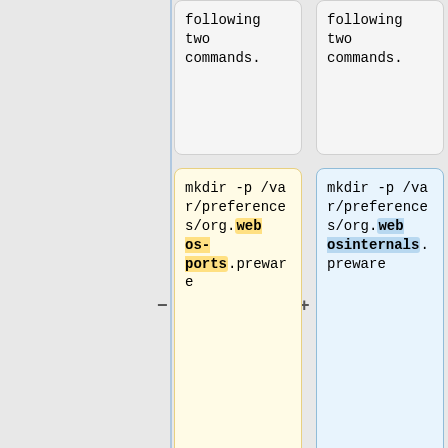following two commands.
following two commands.
mkdir -p /var/preferences/org.webosinternals.preware
mkdir -p /var/preferences/org.webosinternals.preware
touch /var/preferences/org.webosinternals.preware/enable-alpha-feeds
touch /var/preferences/org.webosinternals.preware/enable-alpha-feeds
:3. Install Preware
:3. Install Preware